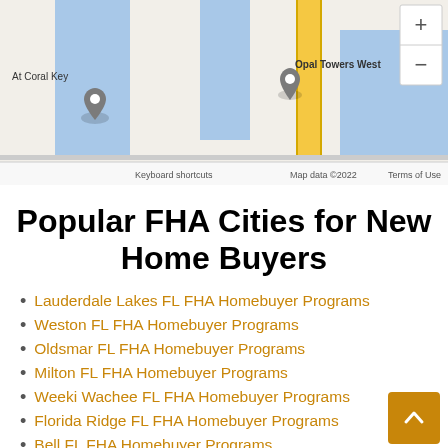[Figure (map): Google Maps screenshot showing 'At Coral Key' location marker and 'Opal Towers West' location marker, with a yellow road, blue water area, zoom controls (+/-), and footer showing 'Keyboard shortcuts', 'Map data ©2022', 'Terms of Use', and the Google logo.]
Popular FHA Cities for New Home Buyers
Lauderdale Lakes FL FHA Homebuyer Programs
Weston FL FHA Homebuyer Programs
Oldsmar FL FHA Homebuyer Programs
Milton FL FHA Homebuyer Programs
Weeki Wachee FL FHA Homebuyer Programs
Florida Ridge FL FHA Homebuyer Programs
Bell FL FHA Homebuyer Programs